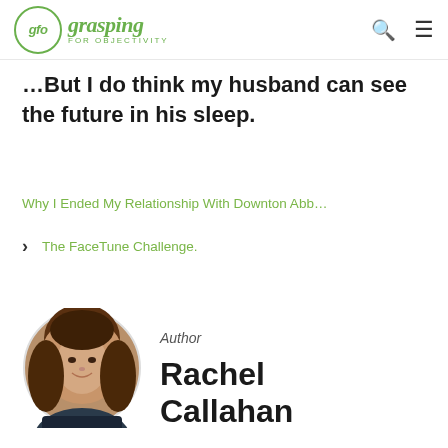gfo grasping FOR OBJECTIVITY
…But I do think my husband can see the future in his sleep.
Why I Ended My Relationship With Downton Abb…
The FaceTune Challenge.
[Figure (photo): Circular portrait photo of Rachel Callahan, a woman with long brown hair, smiling, outdoors with blurred green background]
Author
Rachel Callahan